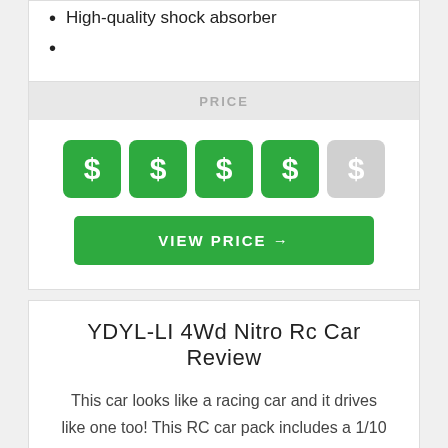High-quality shock absorber
PRICE
[Figure (infographic): Price rating showing four active green dollar sign boxes and one inactive gray dollar sign box, followed by a green VIEW PRICE → button]
YDYL-LI 4Wd Nitro Rc Car Review
This car looks like a racing car and it drives like one too! This RC car pack includes a 1/10 nitro car frame, car shell, and remote controller.